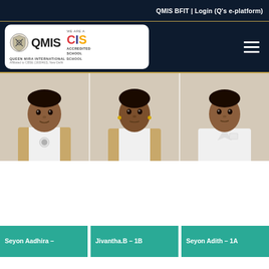QMIS BFIT | Login (Q's e-platform)
[Figure (logo): QMIS Queen Mira International School logo with CIS Accredited School badge. Affiliated to CBSE (1930463), New Delhi.]
[Figure (photo): Photo of student Seyon Aadhira in school uniform (khaki vest over white shirt)]
[Figure (photo): Photo of student Jivantha.B in school uniform (khaki vest over white shirt) with earrings]
[Figure (photo): Photo of student Seyon Adith in school uniform (white shirt)]
Seyon Aadhira –
Jivantha.B – 1B
Seyon Adith – 1A